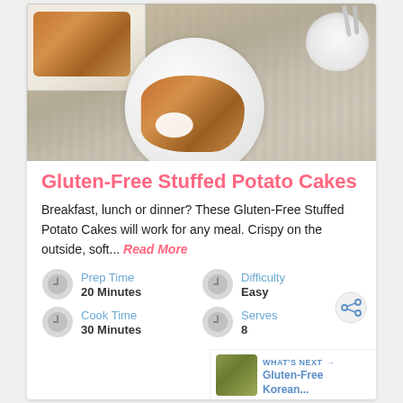[Figure (photo): Overhead photo of gluten-free stuffed potato cakes on a white plate with sour cream, on a wooden surface with a small white bowl nearby]
Gluten-Free Stuffed Potato Cakes
Breakfast, lunch or dinner? These Gluten-Free Stuffed Potato Cakes will work for any meal. Crispy on the outside, soft... Read More
Prep Time
20 Minutes
Difficulty
Easy
Cook Time
30 Minutes
Serves
8
WHAT'S NEXT → Gluten-Free Korean...